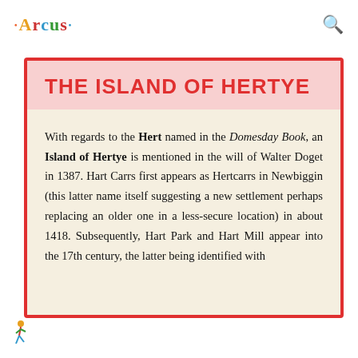Arcus [logo] [search icon]
THE ISLAND OF HERTYE
With regards to the Hert named in the Domesday Book, an Island of Hertye is mentioned in the will of Walter Doget in 1387. Hart Carrs first appears as Hertcarrs in Newbiggin (this latter name itself suggesting a new settlement perhaps replacing an older one in a less-secure location) in about 1418. Subsequently, Hart Park and Hart Mill appear into the 17th century, the latter being identified with
[figure illustration]